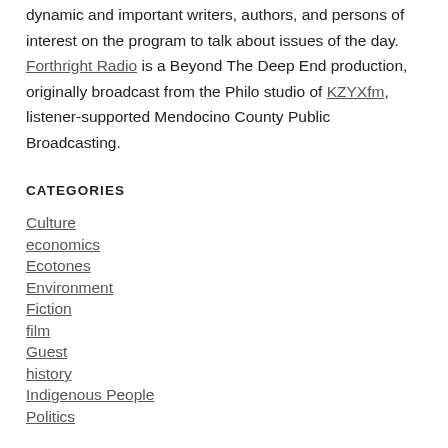dynamic and important writers, authors, and persons of interest on the program to talk about issues of the day. Forthright Radio is a Beyond The Deep End production, originally broadcast from the Philo studio of KZYXfm, listener-supported Mendocino County Public Broadcasting.
CATEGORIES
Culture
economics
Ecotones
Environment
Fiction
film
Guest
history
Indigenous People
Politics